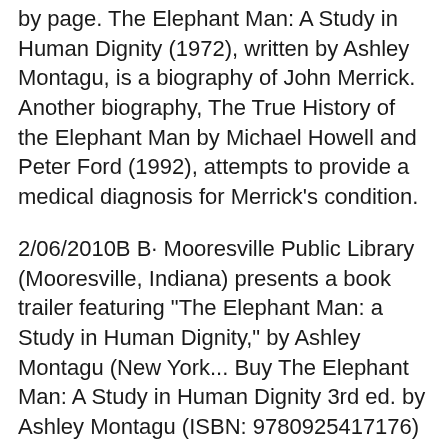by page. The Elephant Man: A Study in Human Dignity (1972), written by Ashley Montagu, is a biography of John Merrick. Another biography, The True History of the Elephant Man by Michael Howell and Peter Ford (1992), attempts to provide a medical diagnosis for Merrick's condition.
2/06/2010B B· Mooresville Public Library (Mooresville, Indiana) presents a book trailer featuring "The Elephant Man: a Study in Human Dignity," by Ashley Montagu (New York... Buy The Elephant Man: A Study in Human Dignity 3rd ed. by Ashley Montagu (ISBN: 9780925417176) from Amazon's Book Store. Everyday low prices and free